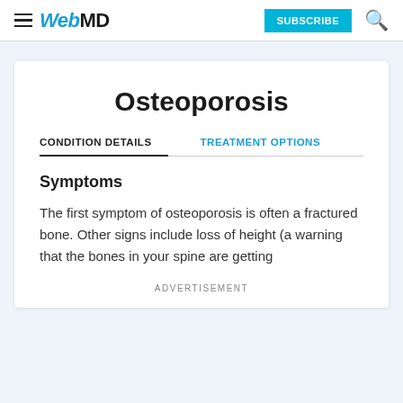WebMD | SUBSCRIBE
Osteoporosis
CONDITION DETAILS | TREATMENT OPTIONS
Symptoms
The first symptom of osteoporosis is often a fractured bone. Other signs include loss of height (a warning that the bones in your spine are getting
ADVERTISEMENT